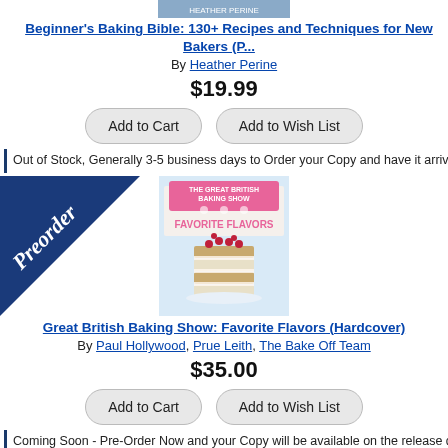[Figure (photo): Book cover image partially visible at top]
Beginner's Baking Bible: 130+ Recipes and Techniques for New Bakers (P...
By Heather Perine
$19.99
Add to Cart   Add to Wish List
Out of Stock, Generally 3-5 business days to Order your Copy and have it arrive at our store o...
[Figure (photo): Book cover for The Great British Baking Show: Favorite Flavors, showing a layered cake with raspberries]
[Figure (illustration): Preorder ribbon/badge in dark blue with white script text saying Preorder]
Great British Baking Show: Favorite Flavors (Hardcover)
By Paul Hollywood, Prue Leith, The Bake Off Team
$35.00
Add to Cart   Add to Wish List
Coming Soon - Pre-Order Now and your Copy will be available on the release date...